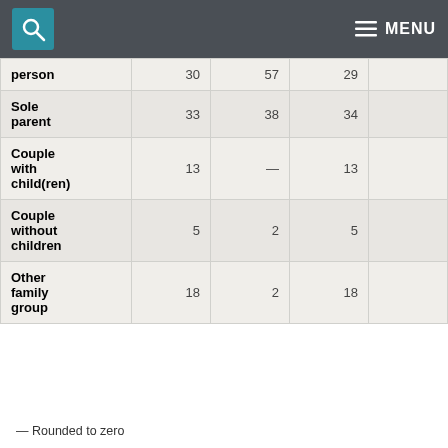MENU
|  | Col1 | Col2 | Col3 | Col4 |
| --- | --- | --- | --- | --- |
| person | 30 | 57 | 29 |  |
| Sole parent | 33 | 38 | 34 |  |
| Couple with child(ren) | 13 | — | 13 |  |
| Couple without children | 5 | 2 | 5 |  |
| Other family group | 18 | 2 | 18 |  |
— Rounded to zero